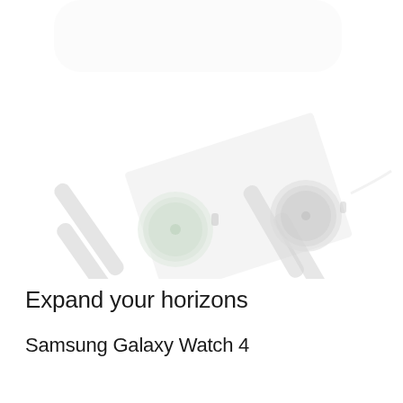[Figure (photo): Faded/washed-out product photo of two Samsung Galaxy Watch 4 smartwatches placed on a surface. The watches are shown from above at an angle, one showing a green-tinted circular face and the other showing a darker circular face. The image appears very light/overexposed with white background blending in.]
Expand your horizons
Samsung Galaxy Watch 4